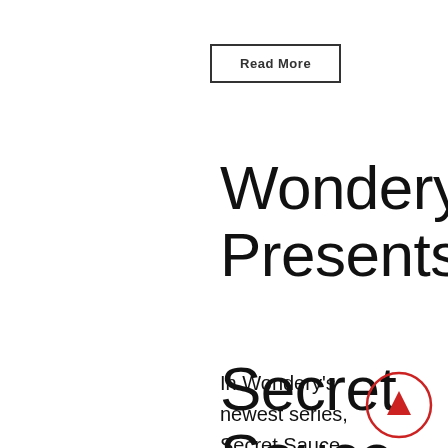Read More
Wondery Presents: Secret Sauce
In Wondery's newest series, Secret Sauce, hosts John Frye and Sam Donner explore the stories and successes behind some of the most inspiring businesses, creative
[Figure (other): Red circle with a dark red filled upward-pointing triangle arrow in the center, functioning as a scroll-to-top button.]